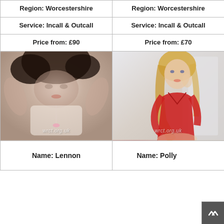| Region: Worcestershire | Region: Worcestershire |
| Service: Incall & Outcall | Service: Incall & Outcall |
| Price from: £90 | Price from: £70 |
[Figure (photo): Photo of person named Lennon, dark hair, lying down, wearing white lingerie. Watermark: wrct.org.uk]
[Figure (photo): Photo of person named Polly, blonde hair, wearing red outfit. Watermark: wrct.org.uk]
| Name: Lennon | Name: Polly |